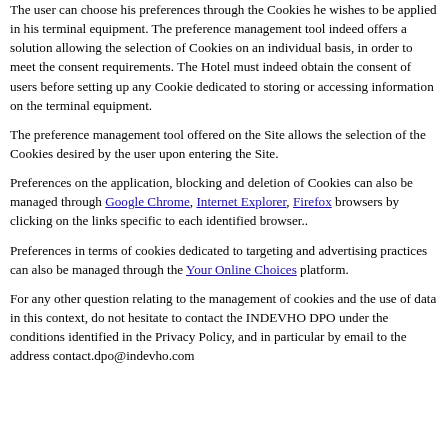The user can choose his preferences through the Cookies he wishes to be applied in his terminal equipment. The preference management tool indeed offers a solution allowing the selection of Cookies on an individual basis, in order to meet the consent requirements. The Hotel must indeed obtain the consent of users before setting up any Cookie dedicated to storing or accessing information on the terminal equipment.
The preference management tool offered on the Site allows the selection of the Cookies desired by the user upon entering the Site.
Preferences on the application, blocking and deletion of Cookies can also be managed through Google Chrome, Internet Explorer, Firefox browsers by clicking on the links specific to each identified browser..
Preferences in terms of cookies dedicated to targeting and advertising practices can also be managed through the Your Online Choices platform.
For any other question relating to the management of cookies and the use of data in this context, do not hesitate to contact the INDEVHO DPO under the conditions identified in the Privacy Policy, and in particular by email to the address contact.dpo@indevho.com